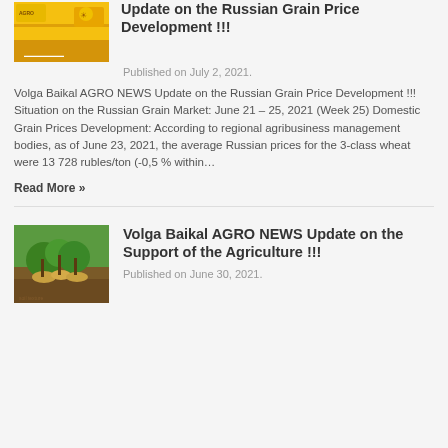[Figure (photo): Yellow grain/agricultural product image with AGRO branding]
Update on the Russian Grain Price Development !!!
Published on July 2, 2021.
Volga Baikal AGRO NEWS Update on the Russian Grain Price Development !!! Situation on the Russian Grain Market: June 21 – 25, 2021 (Week 25) Domestic Grain Prices Development: According to regional agribusiness management bodies, as of June 23, 2021, the average Russian prices for the 3-class wheat were 13 728 rubles/ton (-0,5 % within…
Read More »
[Figure (photo): Green plant growing from coins in soil — agriculture support image]
Volga Baikal AGRO NEWS Update on the Support of the Agriculture !!!
Published on June 30, 2021.